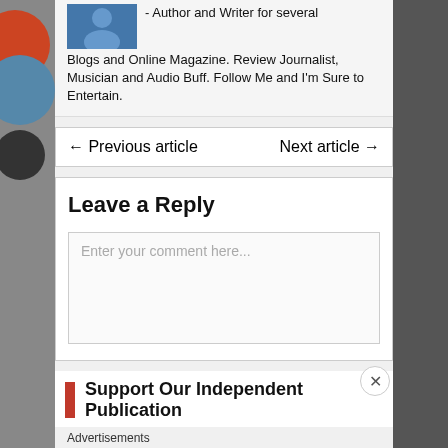- Author and Writer for several Blogs and Online Magazine. Review Journalist, Musician and Audio Buff. Follow Me and I'm Sure to Entertain.
← Previous article    Next article →
Leave a Reply
Enter your comment here...
Support Our Independent Publication
Advertisements
[Figure (illustration): Macy's advertisement banner with red background. Text reads 'KISS BORING LIPS GOODBYE' with 'SHOP NOW' button and Macy's star logo. A woman's face with red lips is shown.]